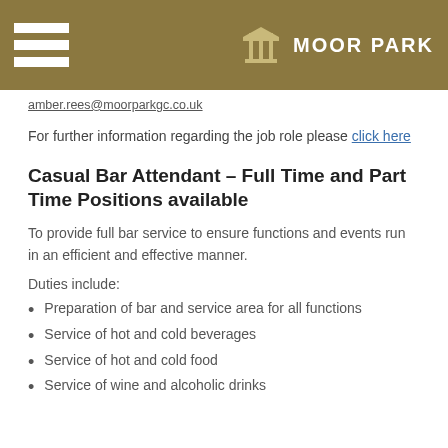MOOR PARK
amber.rees@moorparkgc.co.uk
For further information regarding the job role please click here
Casual Bar Attendant – Full Time and Part Time Positions available
To provide full bar service to ensure functions and events run in an efficient and effective manner.
Duties include:
Preparation of bar and service area for all functions
Service of hot and cold beverages
Service of hot and cold food
Service of wine and alcoholic drinks